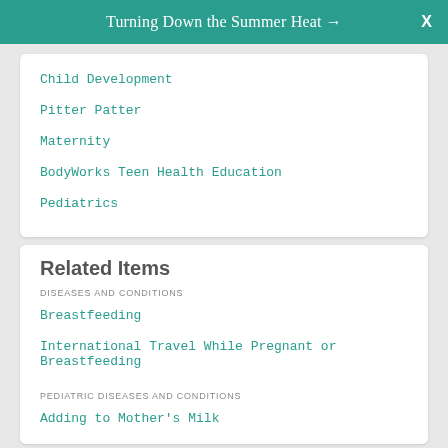Turning Down the Summer Heat →   X
Child Development
Pitter Patter
Maternity
BodyWorks Teen Health Education
Pediatrics
Related Items
DISEASES AND CONDITIONS
Breastfeeding
International Travel While Pregnant or Breastfeeding
PEDIATRIC DISEASES AND CONDITIONS
Adding to Mother's Milk